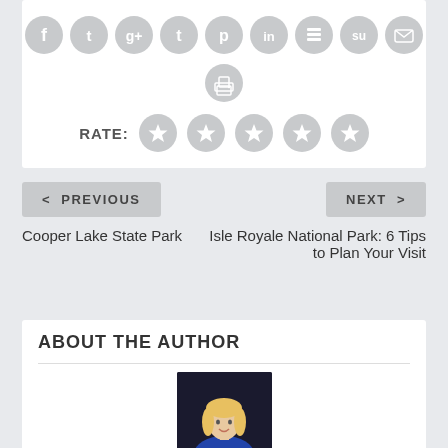[Figure (infographic): Social media sharing icons row: Facebook, Twitter, Google+, Tumblr, Pinterest, LinkedIn, Buffer, StumbleUpon, Email — all grey circular icons. Below them, a single grey printer/print icon.]
RATE:
[Figure (infographic): Five grey circular star rating icons in a row.]
< PREVIOUS
NEXT >
Cooper Lake State Park
Isle Royale National Park: 6 Tips to Plan Your Visit
ABOUT THE AUTHOR
[Figure (photo): Portrait photo of a blonde woman wearing a blue outfit, against a dark background.]